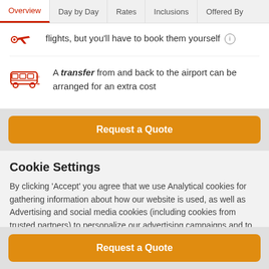Overview | Day by Day | Rates | Inclusions | Offered By
flights, but you'll have to book them yourself
A transfer from and back to the airport can be arranged for an extra cost
Request a Quote
Cookie Settings
By clicking 'Accept' you agree that we use Analytical cookies for gathering information about how our website is used, as well as Advertising and social media cookies (including cookies from trusted partners) to personalize our advertising campaigns and to allow you to share on social media. About our use of cookies
Request a Quote